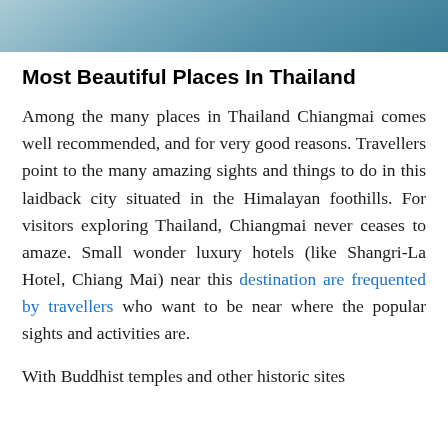[Figure (photo): A partial photo strip at the top of the page showing a light blue/teal scene, likely sky or water in Thailand]
Most Beautiful Places In Thailand
Among the many places in Thailand Chiangmai comes well recommended, and for very good reasons. Travellers point to the many amazing sights and things to do in this laidback city situated in the Himalayan foothills. For visitors exploring Thailand, Chiangmai never ceases to amaze. Small wonder luxury hotels (like Shangri-La Hotel, Chiang Mai) near this destination are frequented by travellers who want to be near where the popular sights and activities are.
With Buddhist temples and other historic sites